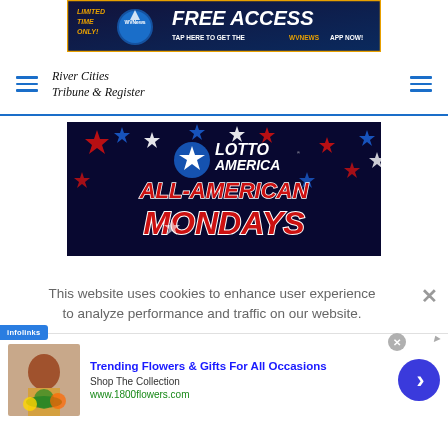[Figure (infographic): Top banner ad: dark navy background with gold border. Text reads 'LIMITED TIME ONLY!' in gold italic, WVNews logo circle, 'FREE ACCESS' in white bold italic, 'TAP HERE TO GET THE WVNEWS APP NOW!' in white with WVNEWS in gold.]
River Cities Tribune & Register
[Figure (infographic): Lotto America 'ALL-AMERICAN MONDAYS' advertisement on dark navy background with red, white, and blue stars scattered. Blue star with Lotto America logo at top, large red italic 'ALL-AMERICAN MONDAYS' text with white stroke.]
This website uses cookies to enhance user experience to analyze performance and traffic on our website.
[Figure (infographic): Infolinks advertisement: thumbnail photo of woman with flowers, blue bold text 'Trending Flowers & Gifts For All Occasions', 'Shop The Collection', green URL 'www.1800flowers.com', blue circle with right arrow chevron.]